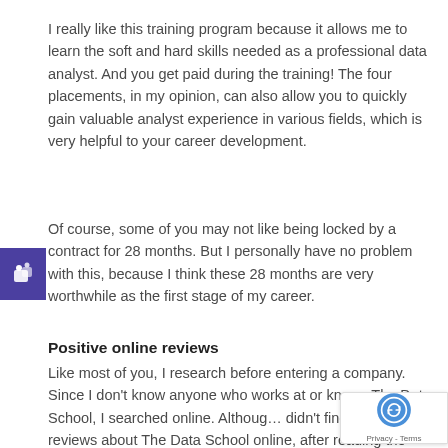I really like this training program because it allows me to learn the soft and hard skills needed as a professional data analyst. And you get paid during the training! The four placements, in my opinion, can also allow you to quickly gain valuable analyst experience in various fields, which is very helpful to your career development.
Of course, some of you may not like being locked by a contract for 28 months. But I personally have no problem with this, because I think these 28 months are very worthwhile as the first stage of my career.
Positive online reviews
Like most of you, I research before entering a company. Since I don't know anyone who works at or knows The Data School, I searched online. Although I didn't find many reviews about The Data School online, after reading the few reviews I saw, I felt t… The Data School becomes to me to alitm Th…